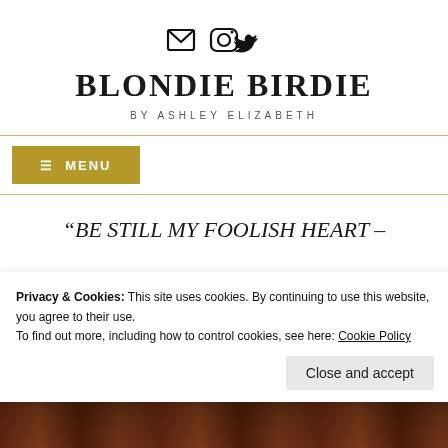[Figure (other): Social media icons row: envelope, Instagram, Twitter]
BLONDIE BIRDIE
BY ASHLEY ELIZABETH
[Figure (other): Menu button with hamburger icon, gold/tan background, text MENU]
“BE STILL MY FOOLISH HEART –
Privacy & Cookies: This site uses cookies. By continuing to use this website, you agree to their use.
To find out more, including how to control cookies, see here: Cookie Policy
[Figure (photo): Dark photo strip at bottom of page]